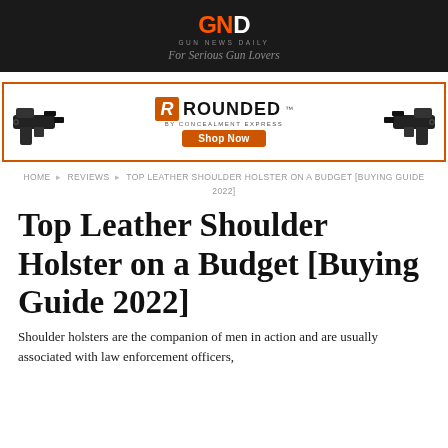GND GUN NEWS DAILY – For Serious Gun Lovers
[Figure (other): Advertisement banner for Rounded by Concealment Express holsters with gun images on each side, orange R logo, 'ROUNDED' text, 'BY CONCEALMENT EXPRESS' subtitle, and 'Shop Now' orange button]
HOME ▸ REVIEWS ▸ TOP LEATHER SHOULDER HOLSTER ON A BUDGET [BUYING GUIDE 2022]
Top Leather Shoulder Holster on a Budget [Buying Guide 2022]
Shoulder holsters are the companion of men in action and are usually associated with law enforcement officers,